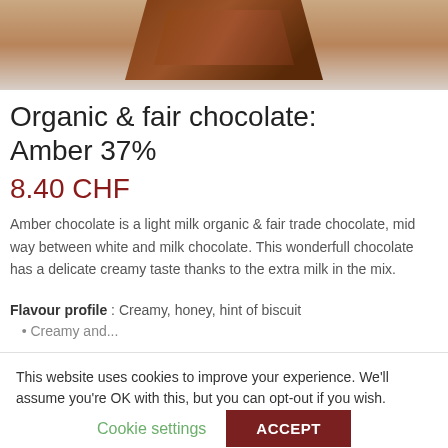[Figure (photo): Photo of chocolate bar pieces on a light background]
Organic & fair chocolate: Amber 37%
8.40 CHF
Amber chocolate is a light milk organic & fair trade chocolate, mid way between white and milk chocolate. This wonderfull chocolate has a delicate creamy taste thanks to the extra milk in the mix.
Flavour profile : Creamy, honey, hint of biscuit
Creamy and...
This website uses cookies to improve your experience. We'll assume you're OK with this, but you can opt-out if you wish.
Cookie settings
ACCEPT